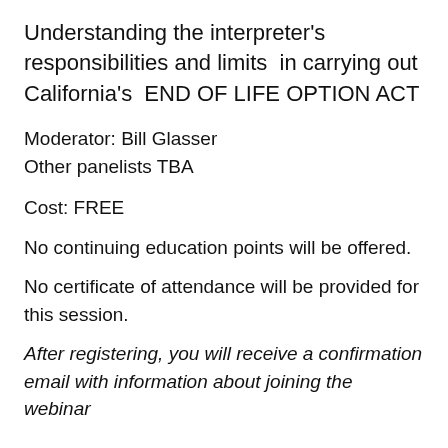Understanding the interpreter's responsibilities and limits in carrying out California's END OF LIFE OPTION ACT
Moderator: Bill Glasser
Other panelists TBA
Cost: FREE
No continuing education points will be offered.
No certificate of attendance will be provided for this session.
After registering, you will receive a confirmation email with information about joining the webinar